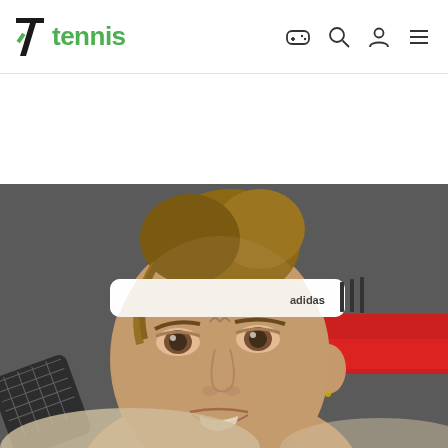7tennis navigation header with logo and icons
[Figure (photo): Close-up photo of a female tennis player wearing a white Adidas headband and tennis outfit, holding a tennis racket, looking intensely to the side, with a blurred red and dark background]